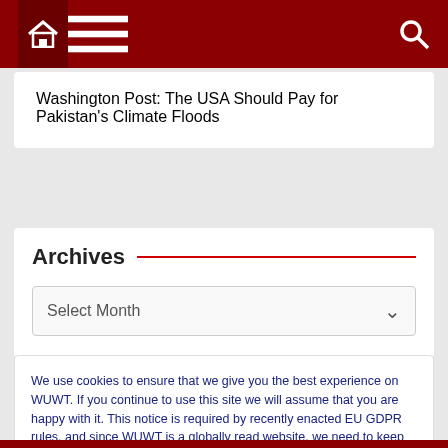[Figure (screenshot): Dark red navigation bar with home icon, hamburger menu icon, and search icon]
Washington Post: The USA Should Pay for Pakistan's Climate Floods
Archives
Select Month
We use cookies to ensure that we give you the best experience on WUWT. If you continue to use this site we will assume that you are happy with it. This notice is required by recently enacted EU GDPR rules, and since WUWT is a globally read website, we need to keep the bureaucrats off our case! Cookie Policy
Close and accept